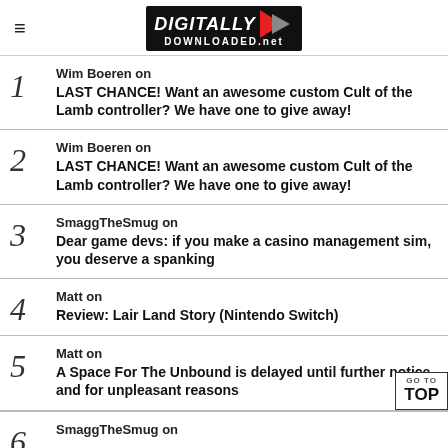Digitally Downloaded.net
Wim Boeren on LAST CHANCE! Want an awesome custom Cult of the Lamb controller? We have one to give away!
Wim Boeren on LAST CHANCE! Want an awesome custom Cult of the Lamb controller? We have one to give away!
SmaggTheSmug on Dear game devs: if you make a casino management sim, you deserve a spanking
Matt on Review: Lair Land Story (Nintendo Switch)
Matt on A Space For The Unbound is delayed until further notice, and for unpleasant reasons
SmaggTheSmug on